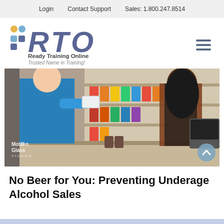Login   Contact Support   Sales: 1.800.247.8514
[Figure (logo): Ready Training Online (RTO) logo with colorful dots and bold RTO letters, tagline: Trusted Name in Training!]
[Figure (photo): A convenience store scene where a male employee in a blue polo shirt is examining an ID while a young woman stands at the counter. Beer is visible on the counter. Motion Glass Studios watermark in bottom left.]
No Beer for You: Preventing Underage Alcohol Sales